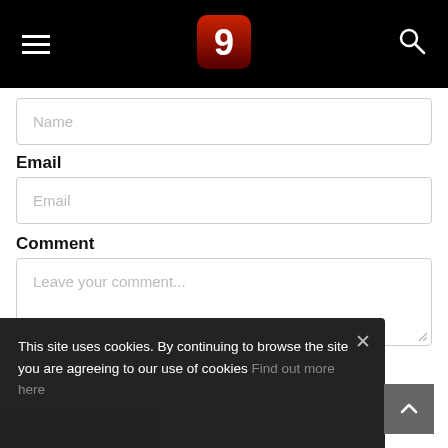9 (logo) — navigation header
Name
Email
Email
Comment
Leave your comment...
This site uses cookies. By continuing to browse the site you are agreeing to our use of cookies Find out more here